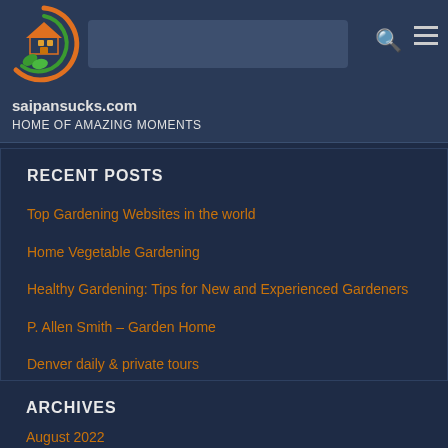[Figure (logo): Circular logo with green leaf and house icon, orange and green ring on dark navy background]
saipansucks.com HOME OF AMAZING MOMENTS
RECENT POSTS
Top Gardening Websites in the world
Home Vegetable Gardening
Healthy Gardening: Tips for New and Experienced Gardeners
P. Allen Smith – Garden Home
Denver daily & private tours
ARCHIVES
August 2022